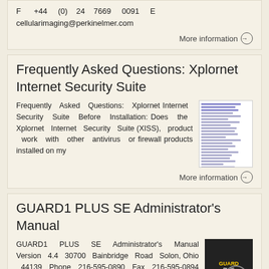F  +44  (0)  24  7669  0091  E cellularimaging@perkinelmer.com
More information →
Frequently Asked Questions: Xplornet Internet Security Suite
Frequently Asked Questions: Xplornet Internet Security Suite Before Installation: Does the Xplornet Internet Security Suite (XISS), product work with other antivirus or firewall products installed on my
[Figure (screenshot): Thumbnail preview of a document with blue text lines]
More information →
GUARD1 PLUS SE Administrator's Manual
GUARD1 PLUS SE Administrator's Manual Version 4.4 30700 Bainbridge Road Solon, Ohio 44139 Phone 216-595-0890 Fax 216-595-0894 ...
[Figure (screenshot): Thumbnail of GUARD1 PLUS SE manual cover with dark background and red branding]